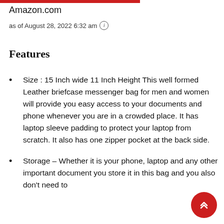Amazon.com
as of August 28, 2022 6:32 am ℹ
Features
Size : 15 Inch wide 11 Inch Height This well formed Leather briefcase messenger bag for men and women will provide you easy access to your documents and phone whenever you are in a crowded place. It has laptop sleeve padding to protect your laptop from scratch. It also has one zipper pocket at the back side.
Storage – Whether it is your phone, laptop and any other important document you store it in this bag and you also don't need to